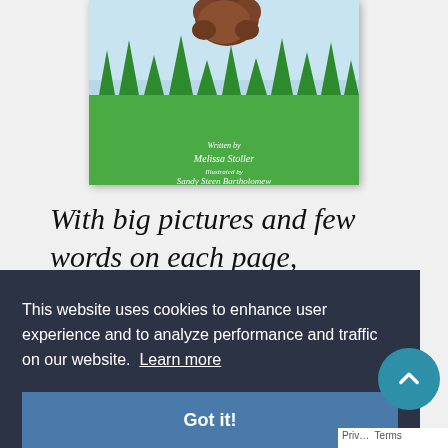[Figure (illustration): Bottom portion of a children's book cover showing green grass and a bear, with credits: Written by Melissa Stoller, Illustrated by Sandy Steen Bartholomew]
With big pictures and few words on each page,
This website uses cookies to enhance user experience and to analyze performance and traffic on our website. Learn more
Got it!
Priv... Terms